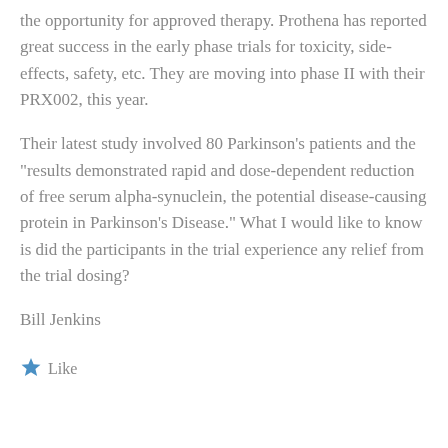the opportunity for approved therapy. Prothena has reported great success in the early phase trials for toxicity, side-effects, safety, etc. They are moving into phase II with their PRX002, this year.
Their latest study involved 80 Parkinson's patients and the "results demonstrated rapid and dose-dependent reduction of free serum alpha-synuclein, the potential disease-causing protein in Parkinson's Disease." What I would like to know is did the participants in the trial experience any relief from the trial dosing?
Bill Jenkins
Like